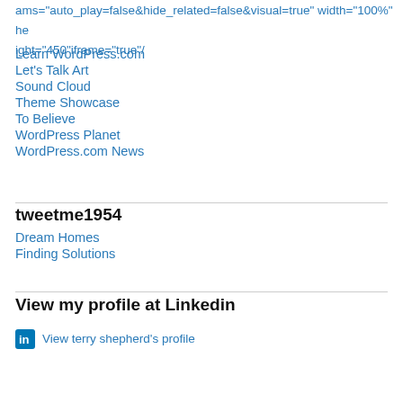ams="auto_play=false&hide_related=false&visual=true" width="100%" height="450"iframe="true"/
Learn WordPress.com
Let's Talk Art
Sound Cloud
Theme Showcase
To Believe
WordPress Planet
WordPress.com News
tweetme1954
Dream Homes
Finding Solutions
View my profile at Linkedin
View terry shepherd's profile